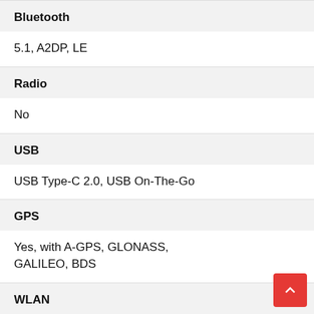| Feature | Value |
| --- | --- |
| Bluetooth | 5.1, A2DP, LE |
| Radio | No |
| USB | USB Type-C 2.0, USB On-The-Go |
| GPS | Yes, with A-GPS, GLONASS, GALILEO, BDS |
| WLAN | Wi-Fi 802.11 a/b/g/n/ac/6, dual-band, Wi-Fi Direct, hotspot |